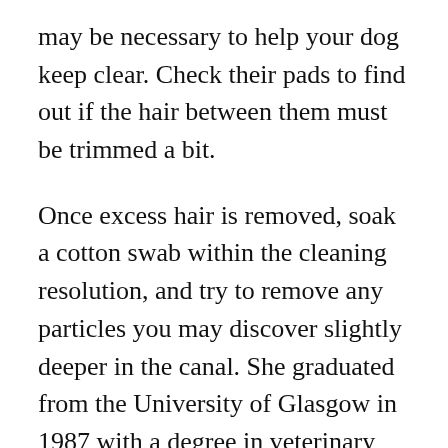may be necessary to help your dog keep clear. Check their pads to find out if the hair between them must be trimmed a bit.
Once excess hair is removed, soak a cotton swab within the cleaning resolution, and try to remove any particles you may discover slightly deeper in the canal. She graduated from the University of Glasgow in 1987 with a degree in veterinary drugs and surgical procedure. She has labored on the similar animal clinic in her hometown for over 20 years. If the world continues to be stained, or if it still smells like urine after your first attempt to scrub it